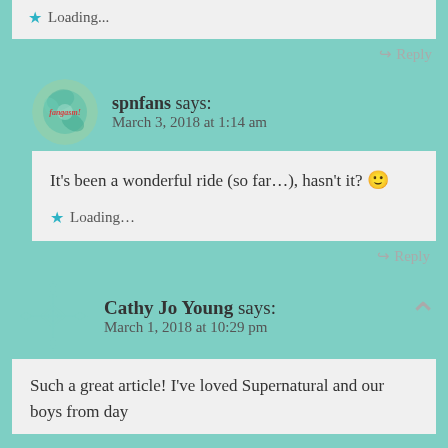Loading...
↳ Reply
spnfans says: March 3, 2018 at 1:14 am
It's been a wonderful ride (so far...), hasn't it? 🙂
Loading...
↳ Reply
Cathy Jo Young says: March 1, 2018 at 10:29 pm
Such a great article! I've loved Supernatural and our boys from day